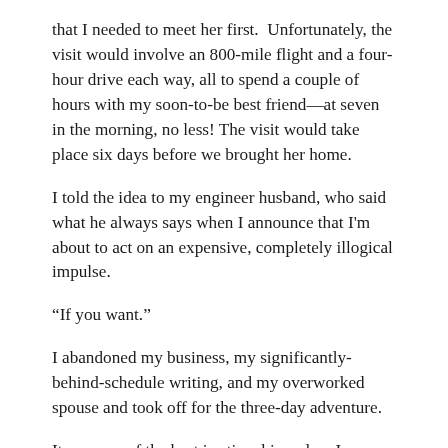that I needed to meet her first.  Unfortunately, the visit would involve an 800-mile flight and a four-hour drive each way, all to spend a couple of hours with my soon-to-be best friend—at seven in the morning, no less! The visit would take place six days before we brought her home.
I told the idea to my engineer husband, who said what he always says when I announce that I'm about to act on an expensive, completely illogical impulse.
“If you want.”
I abandoned my business, my significantly-behind-schedule writing, and my overworked spouse and took off for the three-day adventure.
It was one of the best irrational impulses I ever indulged. Everything about the trip seemed to be blessed.  From unanticipated first class flight upgrades, to a stay at a